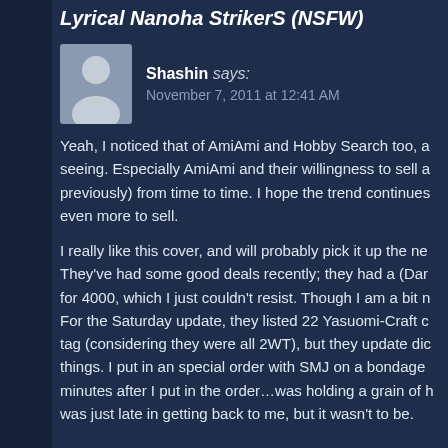Lyrical Nanoha StrikerS (NSFW)
Shashin says: November 7, 2011 at 12:41 AM
Yeah, I noticed that of AmiAmi and Hobby Search too, a seeing. Especially AmiAmi and their willingness to sell a previously) from time to time. I hope the trend continues even more to sell.
I really like this cover, and will probably pick it up the ne They've had some good deals recently; they had a (Dar for 4000, which I just couldn't resist. Though I am a bit n For the Saturday update, they listed 22 Yasuomi-Craft c tag (considering they were all 2WT), but they update dic things. I put in an special order with SMJ on a bondage minutes after I put in the order…was holding a grain of h was just late in getting back to me, but it wasn't to be.